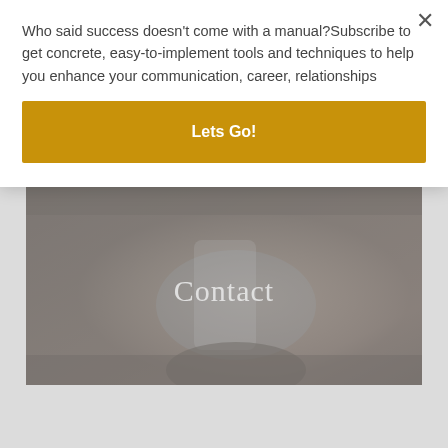Who said success doesn't come with a manual?Subscribe to get concrete, easy-to-implement tools and techniques to help you enhance your communication, career, relationships
Lets Go!
[Figure (photo): Dark blurred background photo of a person holding a smartphone, with the word 'Contact' overlaid in white serif font]